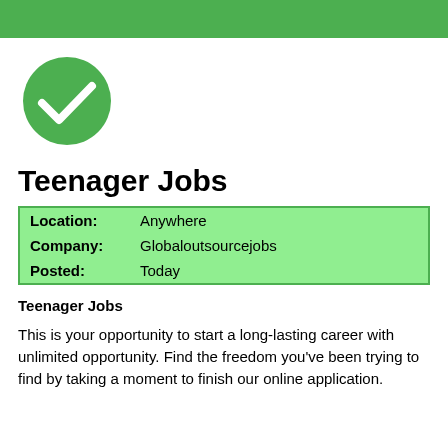[Figure (illustration): Green circle with a white checkmark inside]
Teenager Jobs
| Location: | Anywhere |
| Company: | Globaloutsourcejobs |
| Posted: | Today |
Teenager Jobs
This is your opportunity to start a long-lasting career with unlimited opportunity. Find the freedom you've been trying to find by taking a moment to finish our online application.